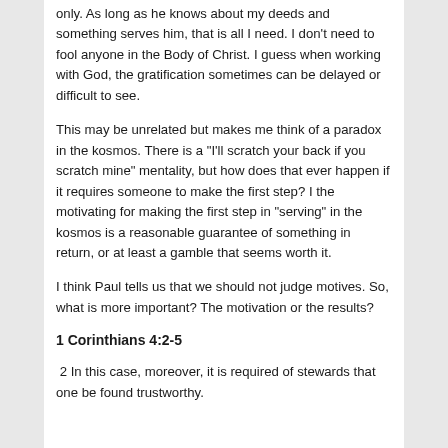only.  As long as he knows about my deeds and something serves him, that is all I need.  I don't need to fool anyone in the Body of Christ.  I guess when working with God, the gratification sometimes can be delayed or difficult to see.
This may be unrelated but makes me think of a paradox in the kosmos.  There is a "I'll scratch your back if you scratch mine" mentality, but how does that ever happen if it requires someone to make the first step?  I the motivating for making the first step in "serving" in the kosmos is a reasonable guarantee of something in return, or at least a gamble that seems worth it.
I think Paul tells us that we should not judge motives. So, what is more important? The motivation or the results?
1 Corinthians 4:2-5
2 In this case, moreover, it is required of stewards that one be found trustworthy.